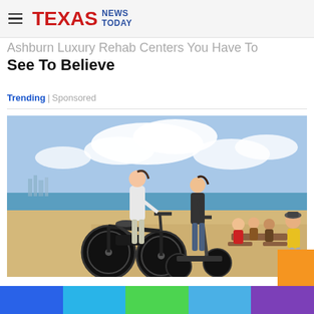TEXAS NEWS TODAY
Ashburn Luxury Rehab Centers You Have To See To Believe
Trending | Sponsored
[Figure (photo): Two young women on electric bikes and scooters at a beach boardwalk, with a group of people sitting at a picnic table in the background and a skyline visible in the distance.]